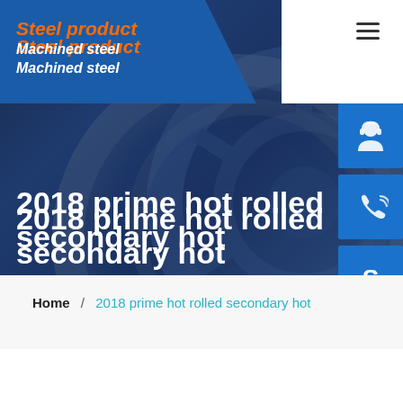[Figure (screenshot): Hero banner with dark blue background showing industrial gear/wheel imagery for a steel product website]
Steel product
Machined steel
2018 prime hot rolled secondary hot
Home  /  2018 prime hot rolled secondary hot